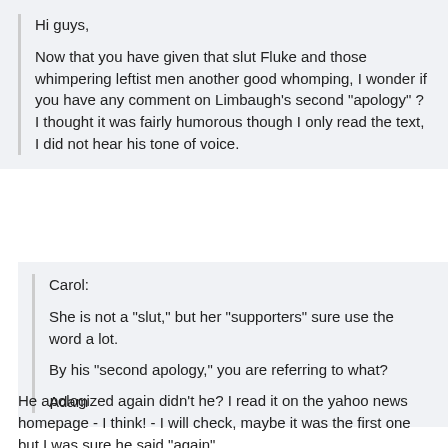Hi guys,

Now that you have given that slut Fluke and those whimpering leftist men another good whomping, I wonder if you have any comment on Limbaugh's second "apology" ? I thought it was fairly humorous though I only read the text, I did not hear his tone of voice.
Carol:

She is not a "slut," but her "supporters" sure use the word a lot.

By his "second apology," you are referring to what?

Adam
He apologized again didn't he? I read it on the yahoo news homepage - I think! - I will check, maybe it was the first one but I was sure he said "again".